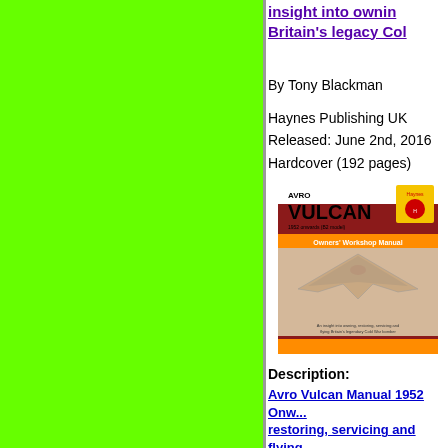insight into owning Britain's legacy Col...
By Tony Blackman
Haynes Publishing UK
Released: June 2nd, 2016
Hardcover (192 pages)
[Figure (illustration): Book cover of Avro Vulcan Owners Workshop Manual, dark red cover with aircraft illustration]
Description:
Avro Vulcan Manual 1952 Onwards (B2 model): An insight into owning, restoring, servicing and flying Britain's legendary Cold War bomber (Owners' Workshop Manual)
Manufacturer: Haynes Publishing